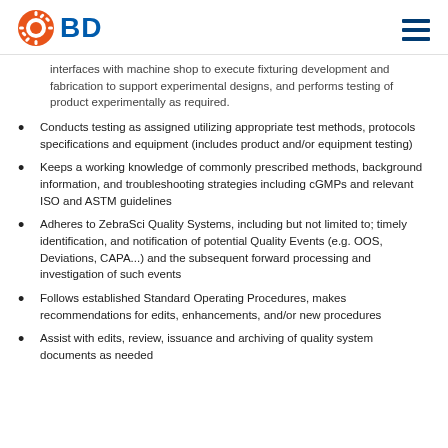BD
interfaces with machine shop to execute fixturing development and fabrication to support experimental designs, and performs testing of product experimentally as required.
Conducts testing as assigned utilizing appropriate test methods, protocols specifications and equipment (includes product and/or equipment testing)
Keeps a working knowledge of commonly prescribed methods, background information, and troubleshooting strategies including cGMPs and relevant ISO and ASTM guidelines
Adheres to ZebraSci Quality Systems, including but not limited to; timely identification, and notification of potential Quality Events (e.g. OOS, Deviations, CAPA...) and the subsequent forward processing and investigation of such events
Follows established Standard Operating Procedures, makes recommendations for edits, enhancements, and/or new procedures
Assist with edits, review, issuance and archiving of quality system documents as needed